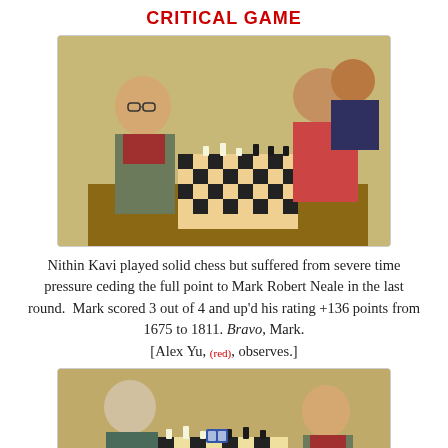CRITICAL GAME
[Figure (photo): Two chess players sitting across from each other at a chess board, one a young boy with glasses on the left, an adult male on the right, with a third person (Alex Yu, in red) observing from behind.]
Nithin Kavi played solid chess but suffered from severe time pressure ceding the full point to Mark Robert Neale in the last round.  Mark scored 3 out of 4 and up'd his rating +136 points from 1675 to 1811. Bravo, Mark. [Alex Yu, (red), observes.]
[Figure (photo): Two chess players at a chess board, an older adult man on the left and a young boy on the right, seated across from each other mid-game.]